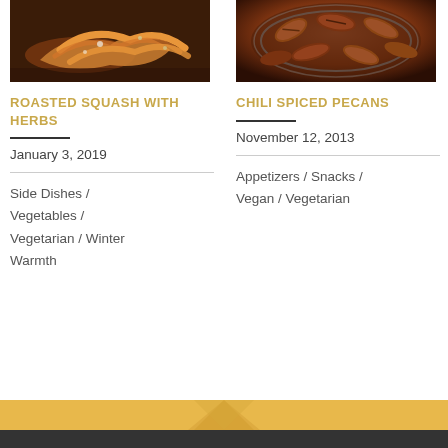[Figure (photo): Food photo of roasted squash with herbs on a bun, overhead/angled view on wooden surface]
ROASTED SQUASH WITH HERBS
January 3, 2019
Side Dishes / Vegetables / Vegetarian / Winter Warmth
[Figure (photo): Food photo of chili spiced pecans in a bowl, close-up view]
CHILI SPICED PECANS
November 12, 2013
Appetizers / Snacks / Vegan / Vegetarian